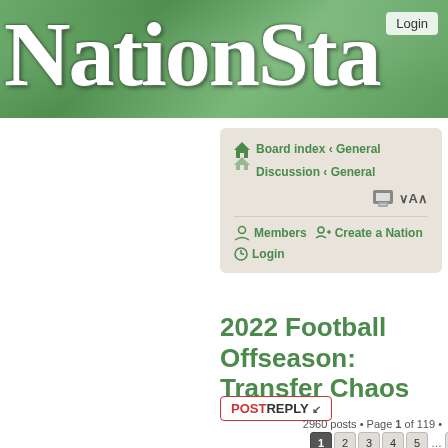NATIONSTA
Login
Board index ‹ General
Discussion ‹ General
Members  Create a Nation  Login
2022 Football Offseason: Transfer Chaos
POST REPLY
2960 posts • Page 1 of 119 •
1 2 3 4 5 … 119
Women's football poll! What are your thoughts on the future and growth of women's football?